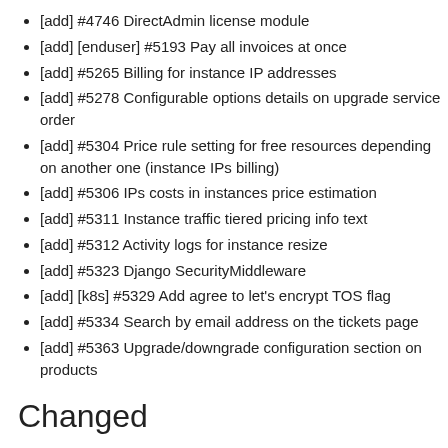[add] #4746 DirectAdmin license module
[add] [enduser] #5193 Pay all invoices at once
[add] #5265 Billing for instance IP addresses
[add] #5278 Configurable options details on upgrade service order
[add] #5304 Price rule setting for free resources depending on another one (instance IPs billing)
[add] #5306 IPs costs in instances price estimation
[add] #5311 Instance traffic tiered pricing info text
[add] #5312 Activity logs for instance resize
[add] #5323 Django SecurityMiddleware
[add] [k8s] #5329 Add agree to let's encrypt TOS flag
[add] #5334 Search by email address on the tickets page
[add] #5363 Upgrade/downgrade configuration section on products
Changed
[change] #1487 Avoid double domain renew